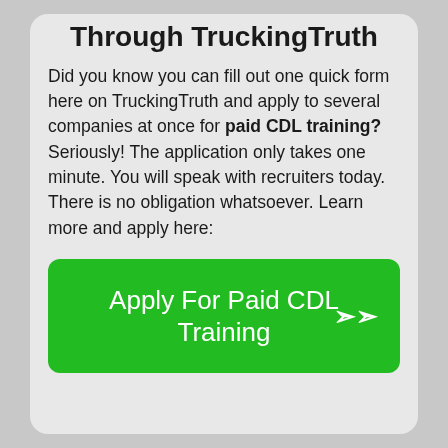Apply For Paid CDL Training Through TruckingTruth
Did you know you can fill out one quick form here on TruckingTruth and apply to several companies at once for paid CDL training? Seriously! The application only takes one minute. You will speak with recruiters today. There is no obligation whatsoever. Learn more and apply here:
[Figure (other): Green call-to-action button with text 'Apply For Paid CDL Training' and a share/arrow icon on the right]